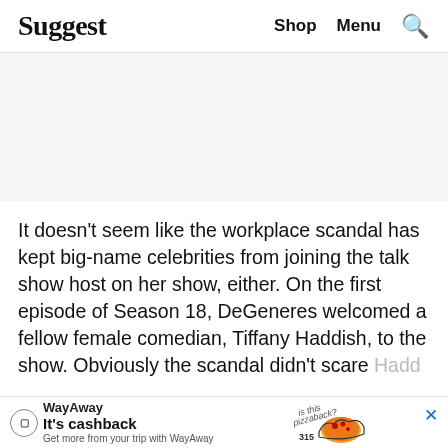Suggest  Shop  Menu  🔍
[Figure (other): Gray advertisement placeholder banner]
It doesn't seem like the workplace scandal has kept big-name celebrities from joining the talk show host on her show, either. On the first episode of Season 18, DeGeneres welcomed a fellow female comedian, Tiffany Haddish, to the show. Obviously the scandal didn't scare Haddish away … have come … front
[Figure (other): WayAway advertisement banner: 'It's cashback - Get more from your trip with WayAway' with pizza illustration and close button]